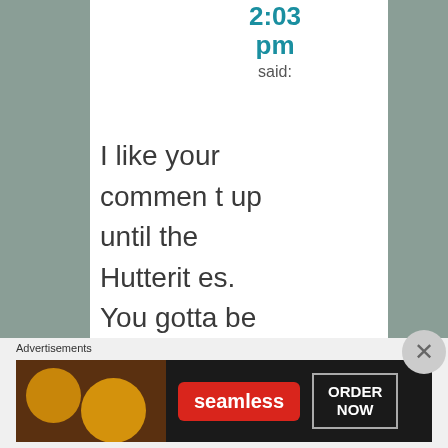2:03 pm said:
I like your comment up until the Hutterites. You gotta be
Advertisements
[Figure (screenshot): Seamless food delivery advertisement banner with pizza image, red Seamless logo badge, and ORDER NOW button]